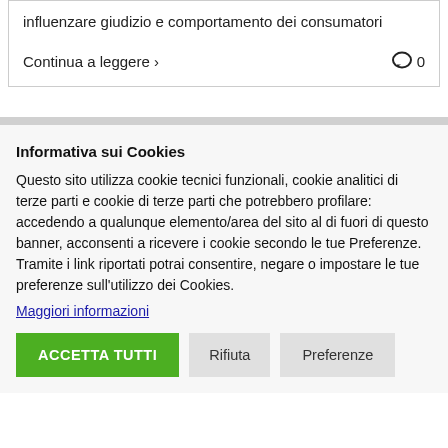influenzare giudizio e comportamento dei consumatori
Continua a leggere › 0
Informativa sui Cookies
Questo sito utilizza cookie tecnici funzionali, cookie analitici di terze parti e cookie di terze parti che potrebbero profilare: accedendo a qualunque elemento/area del sito al di fuori di questo banner, acconsenti a ricevere i cookie secondo le tue Preferenze. Tramite i link riportati potrai consentire, negare o impostare le tue preferenze sull'utilizzo dei Cookies.
Maggiori informazioni
ACCETTA TUTTI   Rifiuta   Preferenze